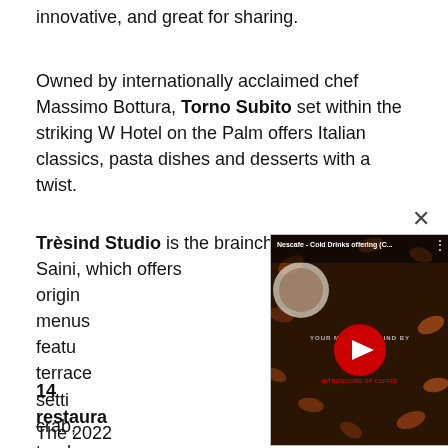innovative, and great for sharing.
Owned by internationally acclaimed chef Massimo Bottura, Torno Subito set within the striking W Hotel on the Palm offers Italian classics, pasta dishes and desserts with a twist.
Trèsind Studio is the brainchild of Himanshu Saini, which offers origin... menus featu... terrace setti... crab, tando... Assam tea d...
[Figure (screenshot): YouTube video overlay showing Nescafe Cold Drinks offering video thumbnail with play button, close button (×), title bar, Nescafe logo, and coffee beans background]
14 restaura...
The 2022 e...